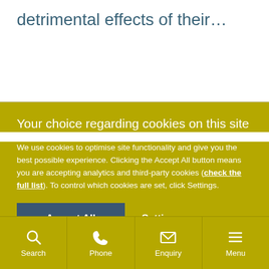detrimental effects of their…
Your choice regarding cookies on this site
We use cookies to optimise site functionality and give you the best possible experience. Clicking the Accept All button means you are accepting analytics and third-party cookies (check the full list). To control which cookies are set, click Settings.
Accept All
Settings
Search  Phone  Enquiry  Menu